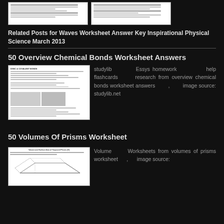[Figure (screenshot): Two small worksheet thumbnail images at the top of the page]
Related Posts for Waves Worksheet Answer Key Inspirational Physical Science March 2013
50 Overview Chemical Bonds Worksheet Answers
[Figure (screenshot): Thumbnail of a Chemical Bonds worksheet showing tables and numbered questions]
studylib Essys homework help flashcards research from overview chemical bonds worksheet answers , image source: studylib.net
50 Volumes Of Prisms Worksheet
[Figure (screenshot): Thumbnail of Volume and Surface Area of Trapezoid Prisms worksheet with a geometric diagram]
Volume Worksheets from volumes of prisms worksheet , image source: